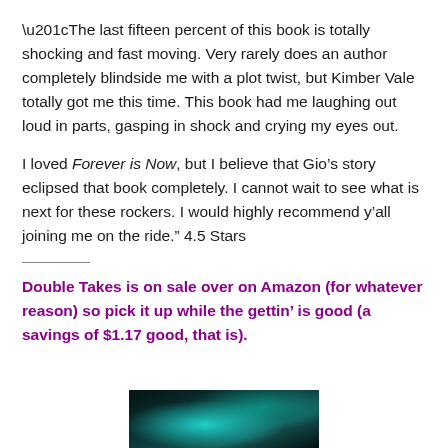“The last fifteen percent of this book is totally shocking and fast moving. Very rarely does an author completely blindside me with a plot twist, but Kimber Vale totally got me this time. This book had me laughing out loud in parts, gasping in shock and crying my eyes out.
I loved Forever is Now, but I believe that Gio’s story eclipsed that book completely. I cannot wait to see what is next for these rockers. I would highly recommend y’all joining me on the ride.” 4.5 Stars
Double Takes is on sale over on Amazon (for whatever reason) so pick it up while the gettin’ is good (a savings of $1.17 good, that is).
[Figure (photo): Bottom portion of a book cover with teal/turquoise tones on a dark background]